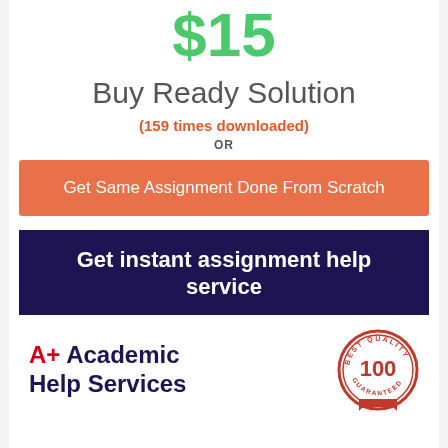$15
Buy Ready Solution
(159 times downloaded)
OR
Get Same Assignment Done From Scratch
Get instant assignment help service
[Figure (logo): A+ Academic Help Services logo with a Best Quality 100 Guaranteed badge/seal on the right]